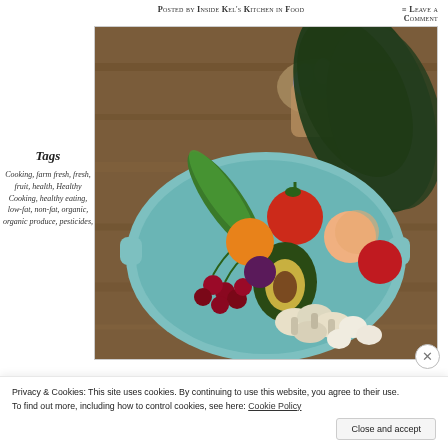Posted by Inside Kel's Kitchen in Food
= Leave a Comment
Tags
Cooking, farm fresh, fresh, fruit, health, Healthy Cooking, healthy eating, low-fat, non-fat, organic, organic produce, pesticides,
[Figure (photo): A blue tray/bowl filled with mixed fresh produce including zucchini, tomatoes, avocado, cherries, orange, peach, plums, mushrooms, and kale on a wooden surface. A glass with purple flowers is visible in the background.]
Privacy & Cookies: This site uses cookies. By continuing to use this website, you agree to their use. To find out more, including how to control cookies, see here: Cookie Policy
Close and accept